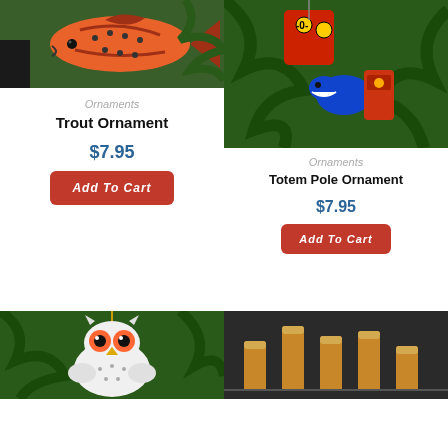[Figure (photo): Photo of a trout ornament (orange fish) hanging on a Christmas tree with green branches]
Ornaments
Trout Ornament
$7.95
Add To Cart
[Figure (photo): Photo of colorful totem pole ornaments (red, blue, yellow figures) hanging on a Christmas tree]
Ornaments
Totem Pole Ornament
$7.95
Add To Cart
[Figure (photo): Photo of a white owl ornament with orange eyes hanging on a Christmas tree]
[Figure (photo): Photo of wooden cylindrical pieces/ornaments on a dark background]